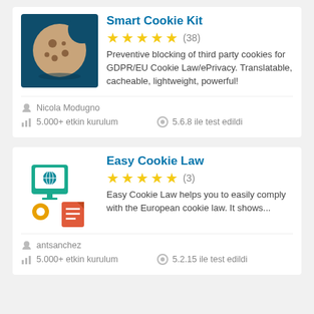Smart Cookie Kit
★★★★★ (38)
Preventive blocking of third party cookies for GDPR/EU Cookie Law/ePrivacy. Translatable, cacheable, lightweight, powerful!
Nicola Modugno
5.000+ etkin kurulum
5.6.8 ile test edildi
Easy Cookie Law
★★★★★ (3)
Easy Cookie Law helps you to easily comply with the European cookie law. It shows...
antsanchez
5.000+ etkin kurulum
5.2.15 ile test edildi